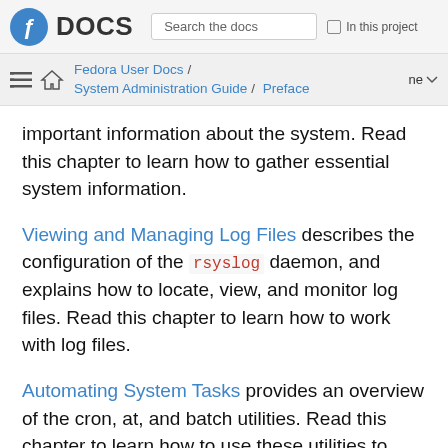Fedora DOCS | Search the docs | In this project
Fedora User Docs / System Administration Guide / Preface
important information about the system. Read this chapter to learn how to gather essential system information.
Viewing and Managing Log Files describes the configuration of the rsyslog daemon, and explains how to locate, view, and monitor log files. Read this chapter to learn how to work with log files.
Automating System Tasks provides an overview of the cron, at, and batch utilities. Read this chapter to learn how to use these utilities to